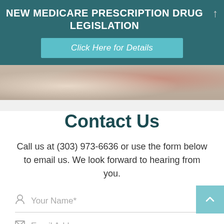NEW MEDICARE PRESCRIPTION DRUG LEGISLATION
Click Here for Details
[Figure (photo): Photo strip showing elderly people, partial view of hands and clothing]
Contact Us
Call us at (303) 973-6636 or use the form below to email us. We look forward to hearing from you.
Your Name*
Email Address